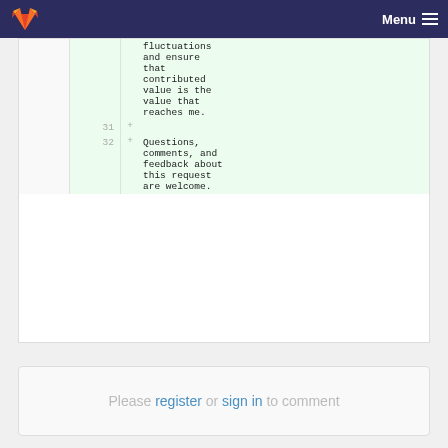Menu
fluctuations and ensure that contributed value is the value that reaches me.
31  +
32  +  Questions, comments, and feedback about this request are welcome.
Please register or sign in to comment